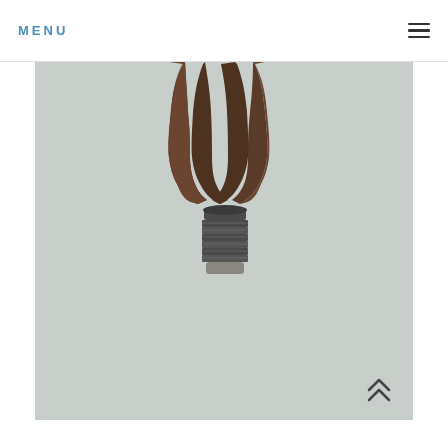MENU
[Figure (photo): Two hands with fingers pointing downward from top of frame toward a metallic screw base (Edison bulb socket) centered in the lower-middle of the image. Background is light gray-green. The image appears to be a conceptual/product photograph showing an E27 lamp socket or similar component being handled.]
[Figure (other): Double chevron up-arrow scroll-to-top icon, dark gray, positioned at lower right of the photo]